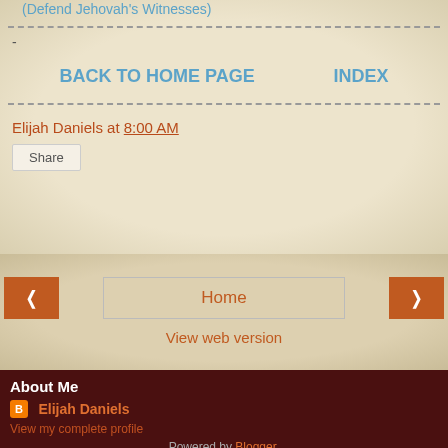(Defend Jehovah's Witnesses)
-
BACK TO HOME PAGE    INDEX
Elijah Daniels at 8:00 AM
Share
Home
View web version
About Me
Elijah Daniels
View my complete profile
Powered by Blogger.